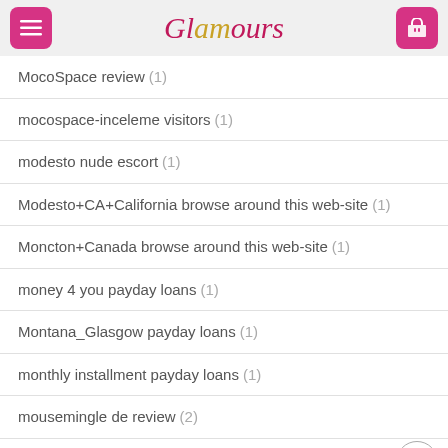Glamours
MocoSpace review (1)
mocospace-inceleme visitors (1)
modesto nude escort (1)
Modesto+CA+California browse around this web-site (1)
Moncton+Canada browse around this web-site (1)
money 4 you payday loans (1)
Montana_Glasgow payday loans (1)
monthly installment payday loans (1)
mousemingle de review (2)
mousemingle fr reviews (1)